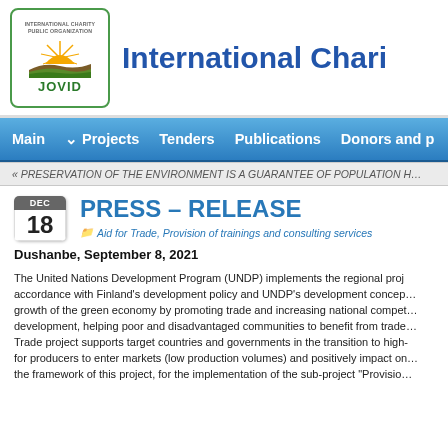[Figure (logo): JOVID International Charity Public Organization logo with sun/landscape graphic, green border]
International Chari...
Main   Projects   Tenders   Publications   Donors and p...
« PRESERVATION OF THE ENVIRONMENT IS A GUARANTEE OF POPULATION H...
PRESS – RELEASE
Aid for Trade, Provision of trainings and consulting services
Dushanbe, September 8, 2021
The United Nations Development Program (UNDP) implements the regional proj... accordance with Finland's development policy and UNDP's development concep... growth of the green economy by promoting trade and increasing national compet... development, helping poor and disadvantaged communities to benefit from trade... Trade project supports target countries and governments in the transition to high- for producers to enter markets (low production volumes) and positively impact on... the framework of this project, for the implementation of the sub-project "Provisio...